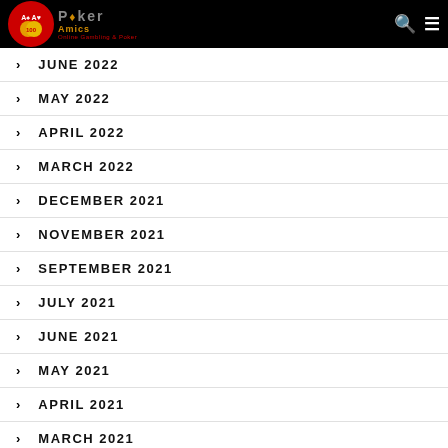Poker Amics Online Gambling & Poker
JUNE 2022
MAY 2022
APRIL 2022
MARCH 2022
DECEMBER 2021
NOVEMBER 2021
SEPTEMBER 2021
JULY 2021
JUNE 2021
MAY 2021
APRIL 2021
MARCH 2021